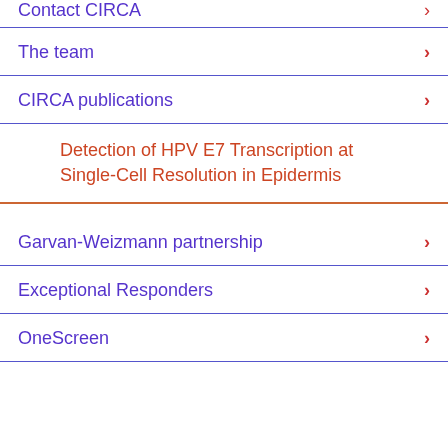Contact CIRCA
The team
CIRCA publications
Detection of HPV E7 Transcription at Single-Cell Resolution in Epidermis
Garvan-Weizmann partnership
Exceptional Responders
OneScreen